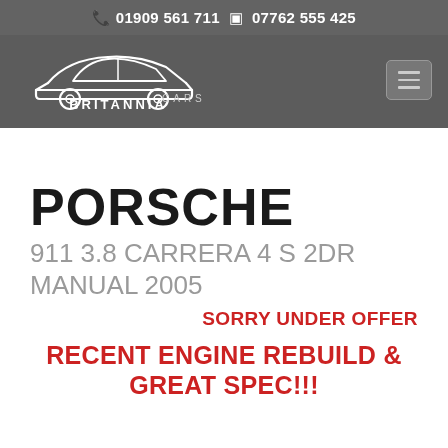📞 01909 561 711  📱 07762 555 425
[Figure (logo): Britannia Cars logo — white car silhouette above the text BRITANNIA CARS on a dark grey background]
PORSCHE
911 3.8 CARRERA 4 S 2DR Manual 2005
SORRY UNDER OFFER
RECENT ENGINE REBUILD & GREAT SPEC!!!